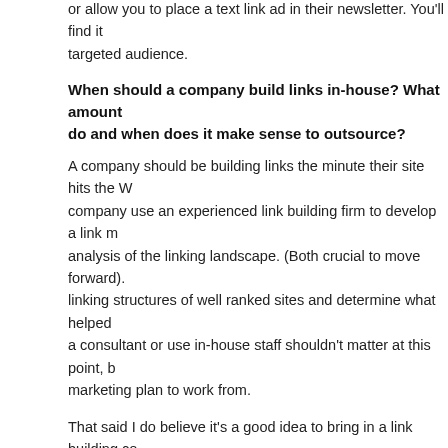or allow you to place a text link ad in their newsletter. You'll find it targeted audience.
When should a company build links in-house? What amount do and when does it make sense to outsource?
A company should be building links the minute their site hits the W company use an experienced link building firm to develop a link m analysis of the linking landscape. (Both crucial to move forward). linking structures of well ranked sites and determine what helped a consultant or use in-house staff shouldn't matter at this point, b marketing plan to work from.
That said I do believe it's a good idea to bring in a link building co to refresh your in-house staff and bring them up to date on what's the very least, keep one on retainer and schedule monthly update
Thanks Debra. If you want to learn more about link building c Spiel.
Published: September 7, 2007 by Aaron Wall in interviews, Link